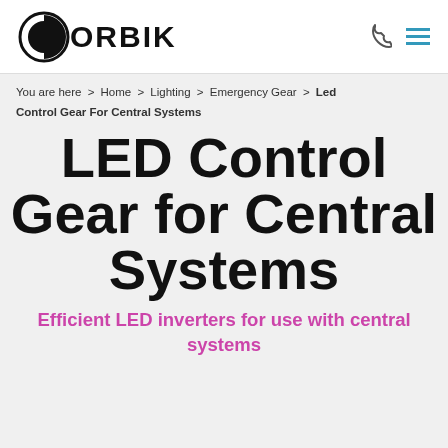DORBIK
You are here > Home > Lighting > Emergency Gear > Led Control Gear For Central Systems
LED Control Gear for Central Systems
Efficient LED inverters for use with central systems